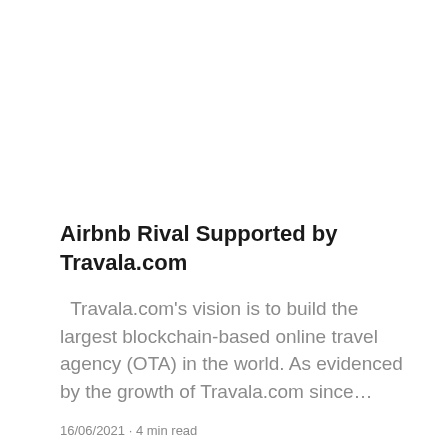Airbnb Rival Supported by Travala.com
Travala.com's vision is to build the largest blockchain-based online travel agency (OTA) in the world. As evidenced by the growth of Travala.com since...
16/06/2021 · 4 min read